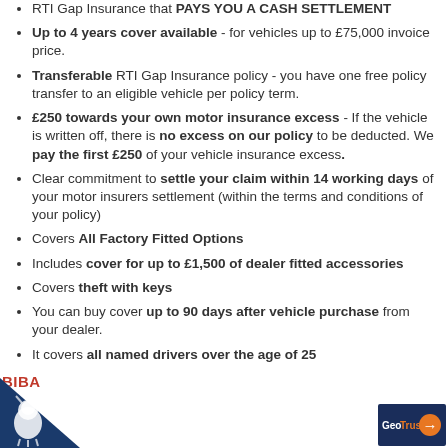RTI Gap Insurance that PAYS YOU A CASH SETTLEMENT
Up to 4 years cover available - for vehicles up to £75,000 invoice price.
Transferable RTI Gap Insurance policy - you have one free policy transfer to an eligible vehicle per policy term.
£250 towards your own motor insurance excess - If the vehicle is written off, there is no excess on our policy to be deducted. We pay the first £250 of your vehicle insurance excess.
Clear commitment to settle your claim within 14 working days of your motor insurers settlement (within the terms and conditions of your policy)
Covers All Factory Fitted Options
Includes cover for up to £1,500 of dealer fitted accessories
Covers theft with keys
You can buy cover up to 90 days after vehicle purchase from your dealer.
It covers all named drivers over the age of 25
[Figure (logo): BIBA logo - British Insurance Brokers' Association, bottom left]
[Figure (logo): GeoTrust logo, bottom right]